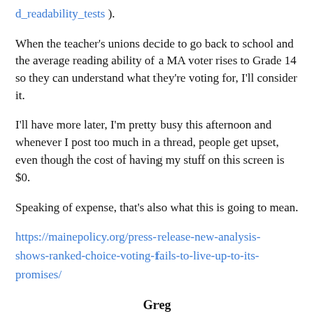d_readability_tests ).
When the teacher's unions decide to go back to school and the average reading ability of a MA voter rises to Grade 14 so they can understand what they're voting for, I'll consider it.
I'll have more later, I'm pretty busy this afternoon and whenever I post too much in a thread, people get upset, even though the cost of having my stuff on this screen is $0.
Speaking of expense, that's also what this is going to mean.
https://mainepolicy.org/press-release-new-analysis-shows-ranked-choice-voting-fails-to-live-up-to-its-promises/
Greg